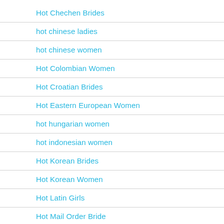Hot Chechen Brides
hot chinese ladies
hot chinese women
Hot Colombian Women
Hot Croatian Brides
Hot Eastern European Women
hot hungarian women
hot indonesian women
Hot Korean Brides
Hot Korean Women
Hot Latin Girls
Hot Mail Order Bride